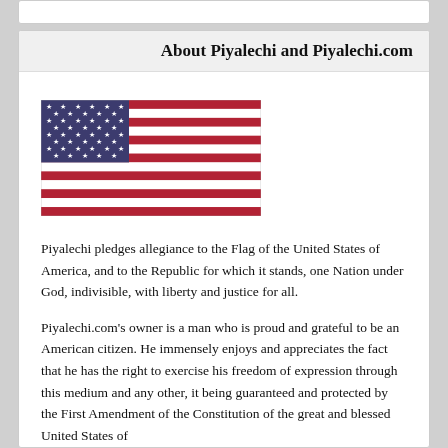About Piyalechi and Piyalechi.com
[Figure (illustration): American flag (Stars and Stripes) with blue canton containing white stars and alternating red and white stripes]
Piyalechi pledges allegiance to the Flag of the United States of America, and to the Republic for which it stands, one Nation under God, indivisible, with liberty and justice for all.
Piyalechi.com’s owner is a man who is proud and grateful to be an American citizen. He immensely enjoys and appreciates the fact that he has the right to exercise his freedom of expression through this medium and any other, it being guaranteed and protected by the First Amendment of the Constitution of the great and blessed United States of America.